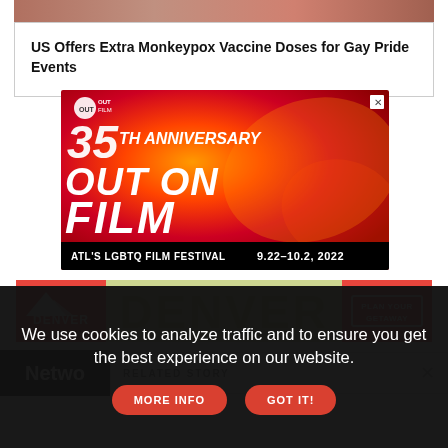[Figure (screenshot): Partial image at top of page, cropped face/person]
US Offers Extra Monkeypox Vaccine Doses for Gay Pride Events
[Figure (photo): 35th Anniversary Out on Film - ATL's LGBTQ Film Festival 9.22-10.2, 2022 advertisement]
[Figure (photo): Denver - Plan Your Getaway advertisement banner]
RELATED STORY
Netwo
We use cookies to analyze traffic and to ensure you get the best experience on our website.
MORE INFO
GOT IT!